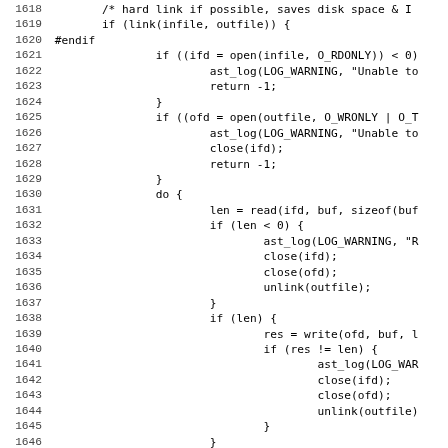Source code listing, lines 1618-1650, showing C file copy logic with open/read/write/close/unlink calls and error handling via ast_log(LOG_WARNING, ...).